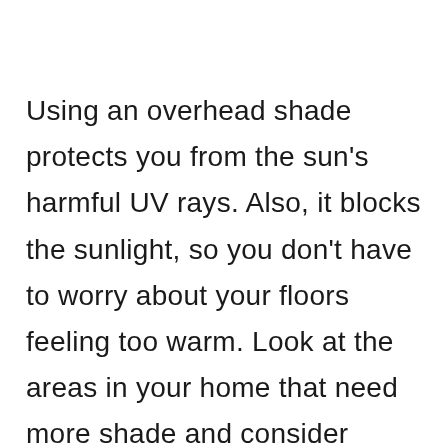Using an overhead shade protects you from the sun's harmful UV rays. Also, it blocks the sunlight, so you don't have to worry about your floors feeling too warm. Look at the areas in your home that need more shade and consider investing in an overhead shade.